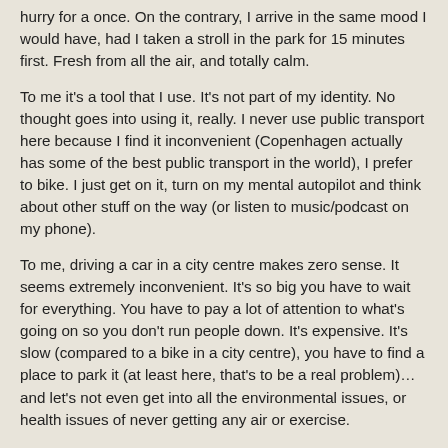hurry for a once. On the contrary, I arrive in the same mood I would have, had I taken a stroll in the park for 15 minutes first. Fresh from all the air, and totally calm.
To me it's a tool that I use. It's not part of my identity. No thought goes into using it, really. I never use public transport here because I find it inconvenient (Copenhagen actually has some of the best public transport in the world), I prefer to bike. I just get on it, turn on my mental autopilot and think about other stuff on the way (or listen to music/podcast on my phone).
To me, driving a car in a city centre makes zero sense. It seems extremely inconvenient. It's so big you have to wait for everything. You have to pay a lot of attention to what's going on so you don't run people down. It's expensive. It's slow (compared to a bike in a city centre), you have to find a place to park it (at least here, that's to be a real problem)… and let's not even get into all the environmental issues, or health issues of never getting any air or exercise.
Maybe I'm just spoiled with living in one of the best cities in the world for biking (Copenhagen), but why you would even own a car here is beyond me.
Reply